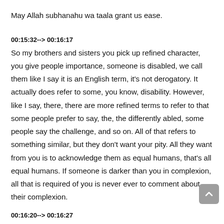May Allah subhanahu wa taala grant us ease.
00:15:32--> 00:16:17
So my brothers and sisters you pick up refined character, you give people importance, someone is disabled, we call them like I say it is an English term, it's not derogatory. It actually does refer to some, you know, disability. However, like I say, there, there are more refined terms to refer to that some people prefer to say, the, the differently abled, some people say the challenge, and so on. All of that refers to something similar, but they don't want your pity. All they want from you is to acknowledge them as equal humans, that's all equal humans. If someone is darker than you in complexion, all that is required of you is never ever to comment about their complexion.
00:16:20--> 00:16:27